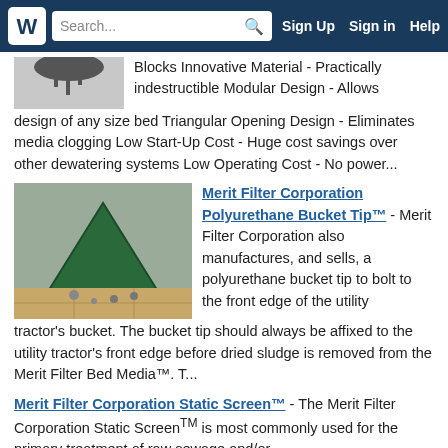Search... Sign Up Sign in Help
Blocks Innovative Material - Practically indestructible Modular Design - Allows design of any size bed Triangular Opening Design - Eliminates media clogging Low Start-Up Cost - Huge cost savings over other dewatering systems Low Operating Cost - No power...
[Figure (photo): Photo of a green polyurethane bucket tip product on a tiled floor with hardware]
Merit Filter Corporation Polyurethane Bucket Tip™ - Merit Filter Corporation also manufactures, and sells, a polyurethane bucket tip to bolt to the front edge of the utility tractor's bucket. The bucket tip should always be affixed to the utility tractor's front edge before dried sludge is removed from the Merit Filter Bed Media™. T...
Merit Filter Corporation Static Screen™ - The Merit Filter Corporation Static ScreenTM  is most commonly used for the primary treatment of raw sewage and/or